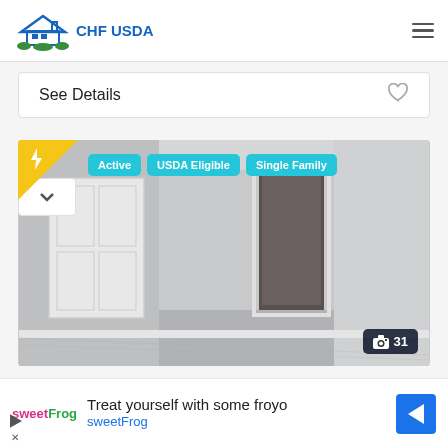CHF USDA
See Details
[Figure (photo): Interior room photo showing a white closet door, an open door to a hallway, and light grey carpet. Overlaid badges: lightning bolt badge (yellow triangle, top-left), and cyan tags reading Active, USDA Eligible, Single Family. Photo count badge showing camera icon and 31.]
Treat yourself with some froyo sweetFrog